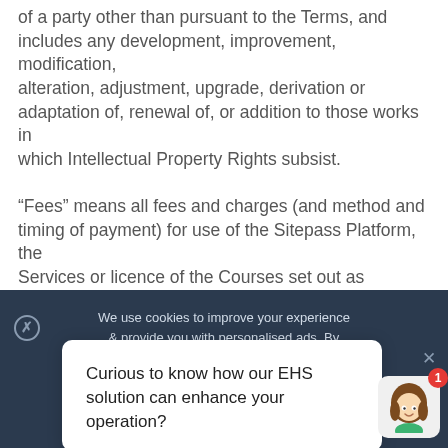of a party other than pursuant to the Terms, and includes any development, improvement, modification, alteration, adjustment, upgrade, derivation or adaptation of, renewal of, or addition to those works in which Intellectual Property Rights subsist.
“Fees” means all fees and charges (and method and timing of payment) for use of the Sitepass Platform, the Services or licence of the Courses set out as amended
We use cookies to improve your experience & provide you with personalised ads. By clicking allow or navigating this site, you
Curious to know how our EHS solution can enhance your operation?